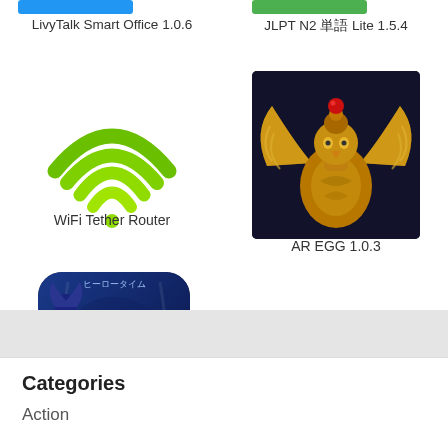[Figure (screenshot): Blue download button (partial, top of page)]
LivyTalk Smart Office 1.0.6
[Figure (screenshot): Green download button (partial, top of page)]
JLPT N2 単語 Lite 1.5.4
[Figure (illustration): WiFi Tether Router icon: green WiFi signal arc symbol on white background]
WiFi Tether Router
[Figure (photo): AR EGG app icon: golden phoenix/eagle figure on dark blue background]
AR EGG 1.0.3
[Figure (screenshot): Hero Time (ヒーロータイム) game icon: blue and red hero characters, Bandai Namco branding]
ヒーロータイム ヒーローズ 5.1.6
Categories
Action